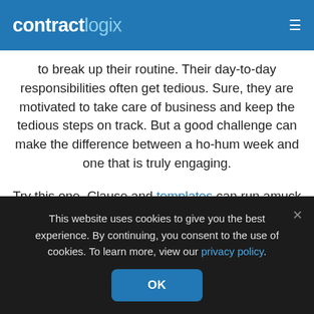contractlogix
to break up their routine. Their day-to-day responsibilities often get tedious. Sure, they are motivated to take care of business and keep the tedious steps on track. But a good challenge can make the difference between a ho-hum week and one that is truly engaging.
Try this one. Clause and templates can run amuck at times. It's not uncommon to have too many clauses that say the same thing but
This website uses cookies to give you the best experience. By continuing, you consent to the use of cookies. To learn more, view our privacy policy.
OK